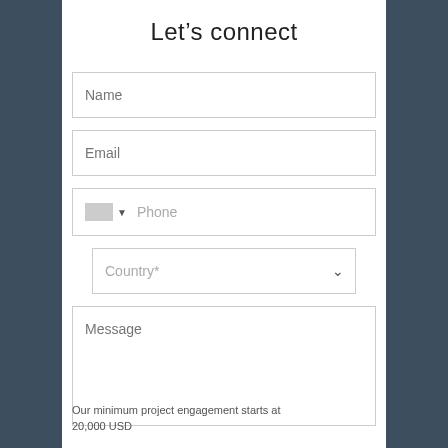Let's connect
[Figure (screenshot): Contact form with fields: Name, Email, Phone (with country flag dropdown), Country (dropdown), Message (textarea)]
Our minimum project engagement starts at 20,000 USD